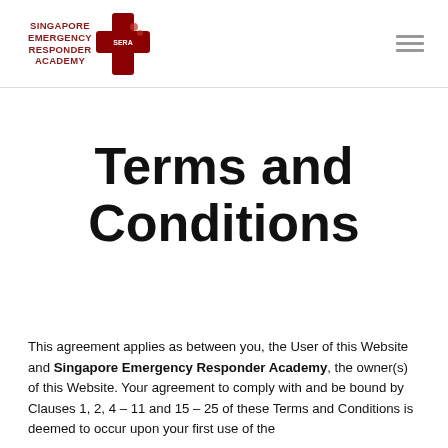Singapore Emergency Responder Academy (SERA) logo and navigation
Terms and Conditions
This agreement applies as between you, the User of this Website and Singapore Emergency Responder Academy, the owner(s) of this Website. Your agreement to comply with and be bound by Clauses 1, 2, 4 – 11 and 15 – 25 of these Terms and Conditions is deemed to occur upon your first use of the